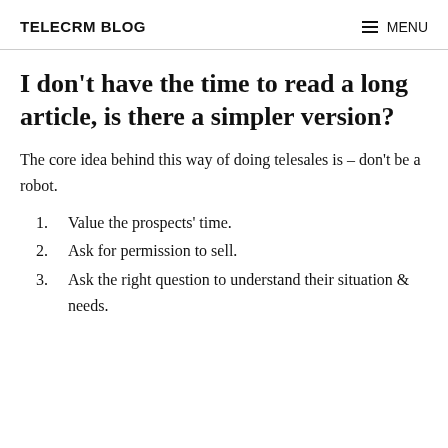TELECRM BLOG   MENU
I don't have the time to read a long article, is there a simpler version?
The core idea behind this way of doing telesales is – don't be a robot.
1. Value the prospects' time.
2. Ask for permission to sell.
3. Ask the right question to understand their situation & needs.